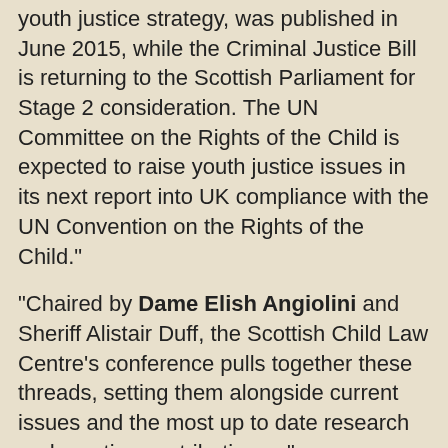youth justice strategy, was published in June 2015, while the Criminal Justice Bill is returning to the Scottish Parliament for Stage 2 consideration. The UN Committee on the Rights of the Child is expected to raise youth justice issues in its next report into UK compliance with the UN Convention on the Rights of the Child."
"Chaired by Dame Elish Angiolini and Sheriff Alistair Duff, the Scottish Child Law Centre's conference pulls together these threads, setting them alongside current issues and the most up to date research and practice contributions..."
http://www.togetherscotland.org.uk/news-and-events/events/detail/?event=335
Dame Elish Angiolini obtained a non-harassment order against child abuse campaigner, Robert Green,